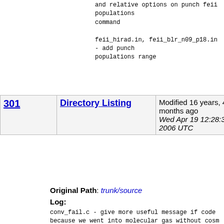and relative options on punch feii populations command
feii_hirad.in, feii_blr_n09_p18.in - add punch populations range
| Rev | Type | Details |
| --- | --- | --- |
| 301 | Directory Listing | Modified 16 years, 4 months ago
Wed Apr 19 12:28:33 2006 UTC
gary |
Original Path: trunk/source
Log:
conv_fail.c - give more useful message if code because we went into molecular gas without cosm rays
ion_trim.c - identify case where hden has becom very very small and floating abundances have underflowed below zero.  abort in this case. previously had detected insanity with an assert now says to consider turning off the element or running such low densities.
parse_crashdo.c - small change to comments
punch_line.c add tabs between numbers of punch